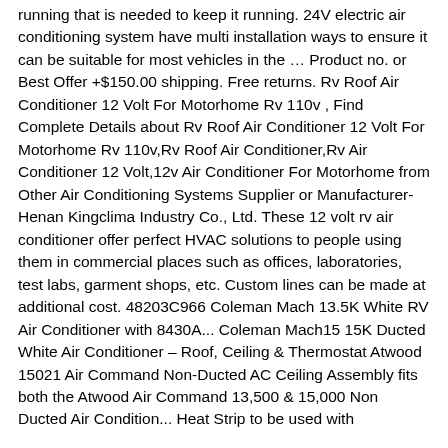running that is needed to keep it running. 24V electric air conditioning system have multi installation ways to ensure it can be suitable for most vehicles in the … Product no. or Best Offer +$150.00 shipping. Free returns. Rv Roof Air Conditioner 12 Volt For Motorhome Rv 110v , Find Complete Details about Rv Roof Air Conditioner 12 Volt For Motorhome Rv 110v,Rv Roof Air Conditioner,Rv Air Conditioner 12 Volt,12v Air Conditioner For Motorhome from Other Air Conditioning Systems Supplier or Manufacturer-Henan Kingclima Industry Co., Ltd. These 12 volt rv air conditioner offer perfect HVAC solutions to people using them in commercial places such as offices, laboratories, test labs, garment shops, etc. Custom lines can be made at additional cost. 48203C966 Coleman Mach 13.5K White RV Air Conditioner with 8430A... Coleman Mach15 15K Ducted White Air Conditioner – Roof, Ceiling & Thermostat Atwood 15021 Air Command Non-Ducted AC Ceiling Assembly fits both the Atwood Air Command 13,500 & 15,000 Non Ducted Air Condition... Heat Strip to be used with